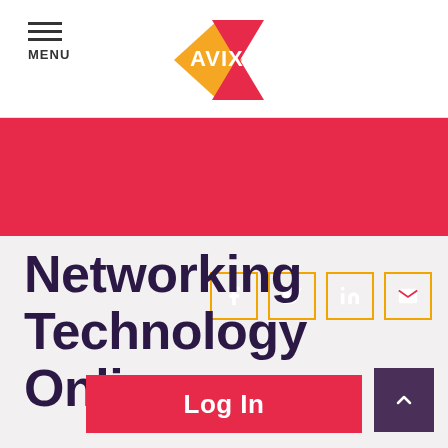MENU
[Figure (logo): AVIXA logo — orange and red/pink star-shaped geometric logo with text AVIXA]
[Figure (infographic): Red banner with four social media icon buttons (Facebook, Twitter, LinkedIn, Email) outlined in yellow/orange borders]
Networking Technology Online
Log In